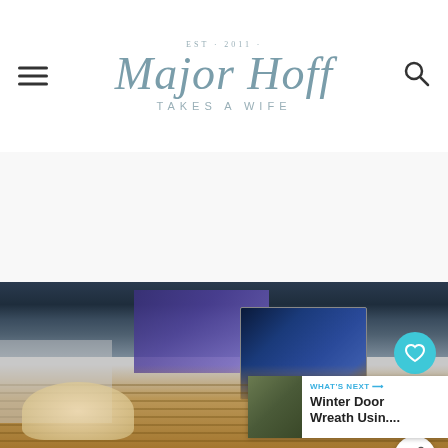Major Hoff Takes a Wife — EST 2011 — navigation header with hamburger menu and search icon
[Figure (photo): A wicker basket filled with Guardians of the Galaxy themed gift items including a dark plush blanket, a Blu-ray movie case featuring Rocket Raccoon, an Avengers branded bottle, and a cellophane bag of popcorn with M&Ms]
WHAT'S NEXT → Winter Door Wreath Usin....